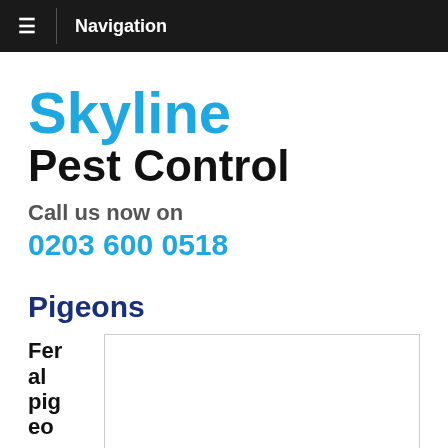≡  Navigation
Skyline Pest Control
Call us now on
0203 600 0518
Pigeons
Feral pigeon
[Figure (photo): Image placeholder box for feral pigeon photo]